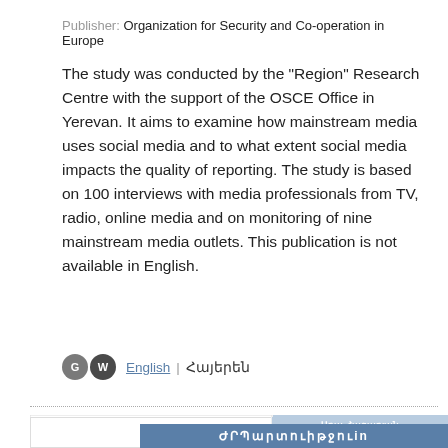Publisher: Organization for Security and Co-operation in Europe
The study was conducted by the "Region" Research Centre with the support of the OSCE Office in Yerevan. It aims to examine how mainstream media uses social media and to what extent social media impacts the quality of reporting. The study is based on 100 interviews with media professionals from TV, radio, online media and on monitoring of nine mainstream media outlets. This publication is not available in English.
English | Հայերեն
[Figure (other): Book cover showing Armenian text. Right panel has light blue background with white text showing author names in Armenian. Bottom bar is medium blue with Armenian title text in large letters.]